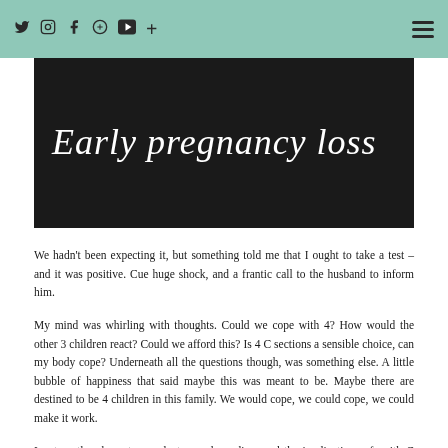Social icons: Twitter, Instagram, Facebook, Pinterest, YouTube, Plus | Hamburger menu
[Figure (photo): Black background image with cursive white text reading 'Early pregnancy loss']
Early pregnancy loss
We hadn't been expecting it, but something told me that I ought to take a test – and it was positive. Cue huge shock, and a frantic call to the husband to inform him.
My mind was whirling with thoughts. Could we cope with 4? How would the other 3 children react? Could we afford this? Is 4 C sections a sensible choice, can my body cope? Underneath all the questions though, was something else. A little bubble of happiness that said maybe this was meant to be. Maybe there are destined to be 4 children in this family. We would cope, we could cope, we could make it work.
I got on the phone to my doctor, and we discussed the implications of a 4th C section. Although not ideal by any stretch of the imagination, I would be closely monitored and as long as I took the recovery slowly he